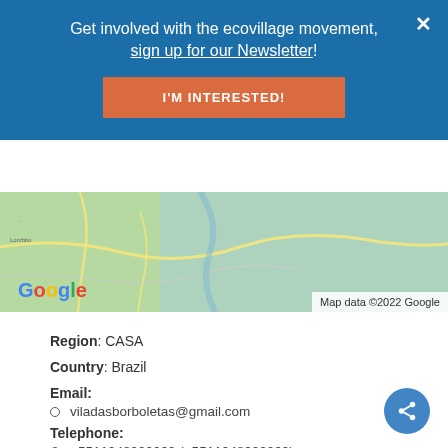Get involved with the ecovillage movement, sign up for our Newsletter!
I'M INTERESTED!
[Figure (map): Google Maps partial view showing a region of Brazil with roads and terrain. Google logo and 'Map data ©2022 Google' attribution visible.]
Region: CASA
Country: Brazil
Email:
viladasborboletas@gmail.com
Telephone:
+5511948900069 (+5511948900069)
Social media:
Facebook